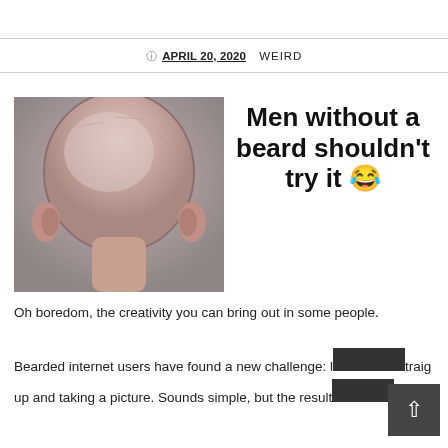APRIL 20, 2020   WEIRD
[Figure (photo): Close-up photo of the back of a bald or closely shaved head from above, viewed from behind, showing ears on each side against a grey background. Next to it, text reads: Men without a beard shouldn't try it 😂]
Oh boredom, the creativity you can bring out in some people.
Bearded internet users have found a new challenge: l[ooking] straig[ht] up and taking a picture. Sounds simple, but the result[s are] hilarou[s]